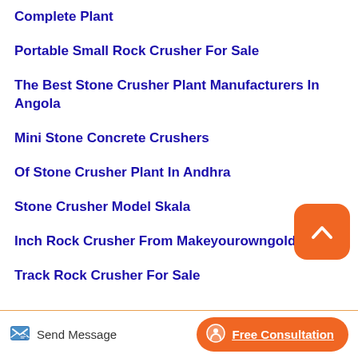Complete Plant
Portable Small Rock Crusher For Sale
The Best Stone Crusher Plant Manufacturers In Angola
Mini Stone Concrete Crushers
Of Stone Crusher Plant In Andhra
Stone Crusher Model Skala
Inch Rock Crusher From Makeyourowngoldbars
Track Rock Crusher For Sale
Send Message   Free Consultation